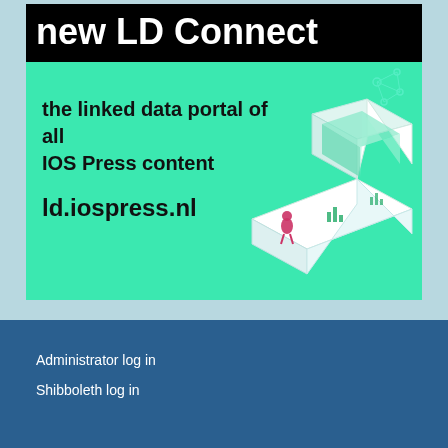[Figure (illustration): Advertisement for IOS Press LD Connect - the linked data portal of all IOS Press content. Green background with black title bar reading 'new LD Connect', subtitle 'the linked data portal of all IOS Press content', URL 'ld.iospress.nl', and an isometric illustration of a data pipeline with a figure and graph icons.]
new LD Connect
the linked data portal of all IOS Press content
ld.iospress.nl
Administrator log in
Shibboleth log in